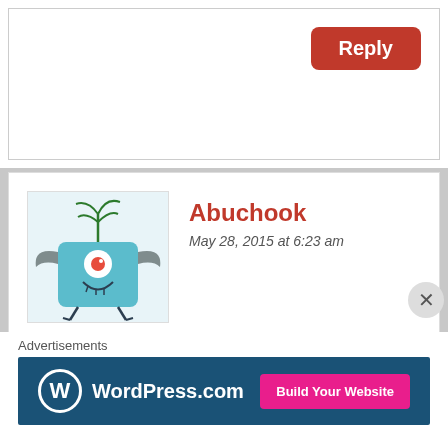[Figure (screenshot): Reply button in red rounded rectangle in top right of a comment reply box]
Abuchook
May 28, 2015 at 6:23 am
[Figure (illustration): Avatar: cartoon monster character in teal/blue color with wings, one eye, and plant on head]
Dear Writer of his stupidity article:

Please I have to let you Informed that you don't really the the history of South Sudan practical way: Please Remember very well that what happened for Riek Machar Ebola rebellion in 1992 in Panyagoor and Poktap and Ayod and Bentiu and waat; where Kuol
Advertisements
[Figure (screenshot): WordPress.com banner advertisement with Build Your Website button]